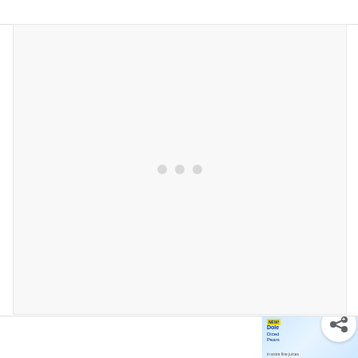[Figure (other): Advertisement placeholder with three grey dots in the center indicating a loading/empty ad unit. Light grey background with subtle border.]
A Healthy Packaged Snack